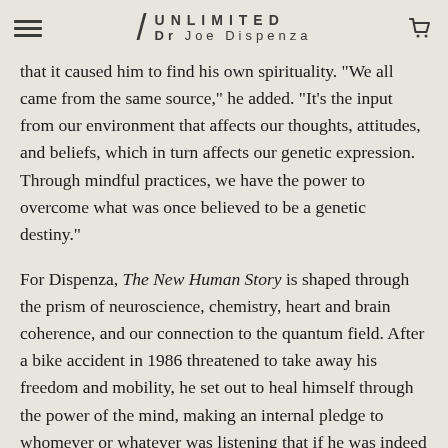/ UNLIMITED Dr Joe Dispenza
that it caused him to find his own spirituality. "We all came from the same source," he added. "It's the input from our environment that affects our thoughts, attitudes, and beliefs, which in turn affects our genetic expression. Through mindful practices, we have the power to overcome what was once believed to be a genetic destiny."
For Dispenza, The New Human Story is shaped through the prism of neuroscience, chemistry, heart and brain coherence, and our connection to the quantum field. After a bike accident in 1986 threatened to take away his freedom and mobility, he set out to heal himself through the power of the mind, making an internal pledge to whomever or whatever was listening that if he was indeed able to heal himself, he would spend the rest of his life studying the power of the mind to heal the body. His miraculous healing, and ultimately the discoveries he